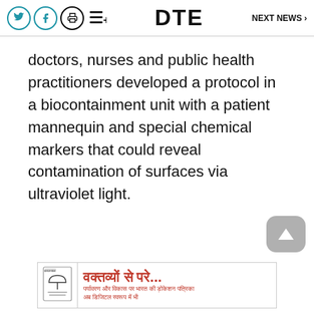DTE  NEXT NEWS >
doctors, nurses and public health practitioners developed a protocol in a biocontainment unit with a patient mannequin and special chemical markers that could reveal contamination of surfaces via ultraviolet light.
[Figure (other): Scroll to top button (grey rounded square with upward arrow)]
[Figure (other): Advertisement banner in Hindi: वक्तव्यों से परे... with sub-text and logo]